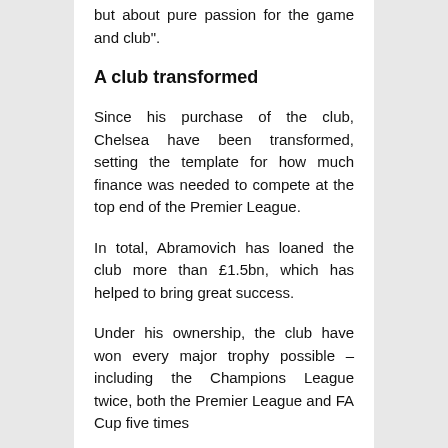but about pure passion for the game and club".
A club transformed
Since his purchase of the club, Chelsea have been transformed, setting the template for how much finance was needed to compete at the top end of the Premier League.
In total, Abramovich has loaned the club more than £1.5bn, which has helped to bring great success.
Under his ownership, the club have won every major trophy possible – including the Champions League twice, both the Premier League and FA Cup five times